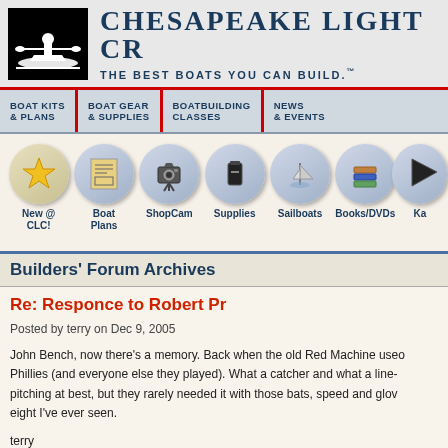[Figure (logo): Chesapeake Light Craft logo with silhouette of person in kayak on black background, beside site name and tagline]
CHESAPEAKE LIGHT CR... THE BEST BOATS YOU CAN BUILD.
BOAT KITS & PLANS | BOAT GEAR & SUPPLIES | BOATBUILDING CLASSES | NEWS & EVENTS
[Figure (infographic): Icon navigation row with: New @ CLC! (gold star), Boat Plans (blueprint icon), ShopCam (camera icon), Supplies (container icon), Sailboats (sailboat icon), Books/DVDs (books icon), Ka... (partially visible)]
Builders' Forum Archives
Re: Responce to Robert Pr
Posted by terry on Dec 9, 2005
John Bench, now there's a memory. Back when the old Red Machine used... Phillies (and everyone else they played). What a catcher and what a line-... pitching at best, but they rarely needed it with those bats, speed and glo... eight I've ever seen.
terry